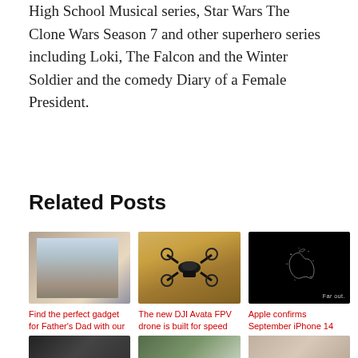High School Musical series, Star Wars The Clone Wars Season 7 and other superhero series including Loki, The Falcon and the Winter Soldier and the comedy Diary of a Female President.
Related Posts
[Figure (photo): Photo of a child on an adult's back while the adult does a push-up on the floor, with a laptop nearby]
Find the perfect gadget for Father's Dad with our gift guide
[Figure (photo): Photo of a DJI Avata FPV drone against a sandy/desert background]
The new DJI Avata FPV drone is built for speed and agility but with safety in mind
[Figure (photo): Apple logo made of sparkles/stars on black background with text 'Far out.']
Apple confirms September iPhone 14 launch event – what we can expect to see
[Figure (photo): Bottom row partially visible: a dark device, a phone on green background, and a round object]
[Figure (photo): Bottom row second item partially visible]
[Figure (photo): Bottom row third item partially visible]